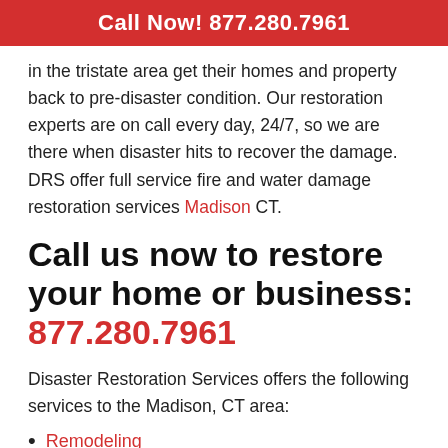Call Now! 877.280.7961
in the tristate area get their homes and property back to pre-disaster condition. Our restoration experts are on call every day, 24/7, so we are there when disaster hits to recover the damage. DRS offer full service fire and water damage restoration services Madison CT.
Call us now to restore your home or business: 877.280.7961
Disaster Restoration Services offers the following services to the Madison, CT area:
Remodeling
SteraMist